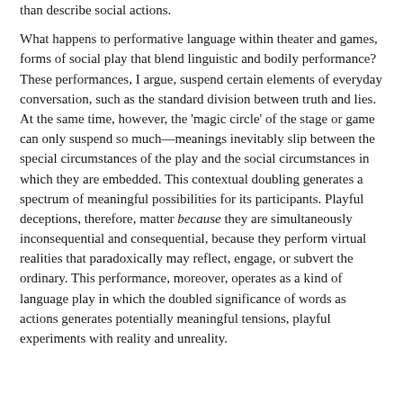than describe social actions.
What happens to performative language within theater and games, forms of social play that blend linguistic and bodily performance? These performances, I argue, suspend certain elements of everyday conversation, such as the standard division between truth and lies. At the same time, however, the 'magic circle' of the stage or game can only suspend so much—meanings inevitably slip between the special circumstances of the play and the social circumstances in which they are embedded. This contextual doubling generates a spectrum of meaningful possibilities for its participants. Playful deceptions, therefore, matter because they are simultaneously inconsequential and consequential, because they perform virtual realities that paradoxically may reflect, engage, or subvert the ordinary. This performance, moreover, operates as a kind of language play in which the doubled significance of words as actions generates potentially meaningful tensions, playful experiments with reality and unreality.